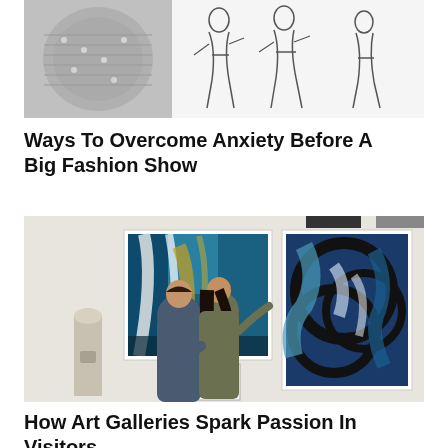[Figure (photo): Top strip image: on the left, a rolled silver metallic fabric or sequin material; on the right, line-drawing sketches of fashion figures/silhouettes on white paper.]
Ways To Overcome Anxiety Before A Big Fashion Show
[Figure (photo): A couple standing in an art gallery viewed from behind, looking at colorful abstract paintings on a white wall. The artworks include a large blue and gold abstract piece and a bold blue and black circular pattern painting.]
How Art Galleries Spark Passion In Visitors